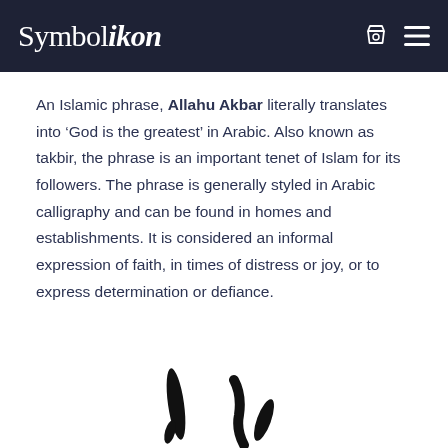Symbolikon
An Islamic phrase, Allahu Akbar literally translates into ‘God is the greatest’ in Arabic. Also known as takbir, the phrase is an important tenet of Islam for its followers. The phrase is generally styled in Arabic calligraphy and can be found in homes and establishments. It is considered an informal expression of faith, in times of distress or joy, or to express determination or defiance.
[Figure (illustration): Partial view of Arabic calligraphy illustration at bottom of page, showing black brushstroke-style letterforms against white background]